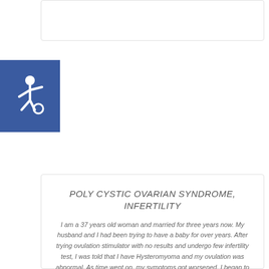[Figure (other): Accessibility wheelchair icon on blue background]
POLY CYSTIC OVARIAN SYNDROME, INFERTILITY
I am a 37 years old woman and married for three years now. My husband and I had been trying to have a baby for over years. After trying ovulation stimulator with no results and undergo few infertility test, I was told that I have Hysteromyoma and my ovulation was abnormal. As time went on, my symptoms got worsened. I began to realize that I have overlooked my ovulation problem and the abnormal activity has induced endometrial polyps